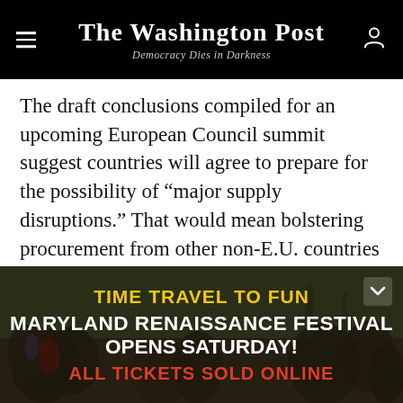The Washington Post — Democracy Dies in Darkness
The draft conclusions compiled for an upcoming European Council summit suggest countries will agree to prepare for the possibility of “major supply disruptions.” That would mean bolstering procurement from other non-E.U. countries and also creating deals to share supplies within the bloc.
Europe has tried to wean its dependence on Russian fossil fuels, first with an embargo of coal. A more
[Figure (photo): Advertisement banner for Maryland Renaissance Festival: TIME TRAVEL TO FUN — MARYLAND RENAISSANCE FESTIVAL OPENS SATURDAY! ALL TICKETS SOLD ONLINE. Background shows people in Renaissance costumes.]